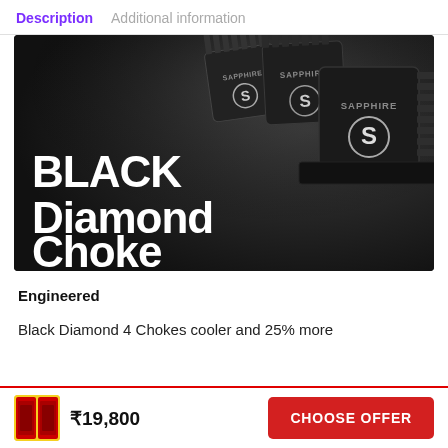Description   Additional information
[Figure (photo): Product photo of Sapphire Black Diamond Choke components — three black square choke modules with Sapphire S logo on a dark background, with large white bold text reading 'BLACK Diamond Choke' overlaid on the lower left.]
Engineered
Black Diamond 4 Chokes cooler and 25% more
₹19,800   CHOOSE OFFER